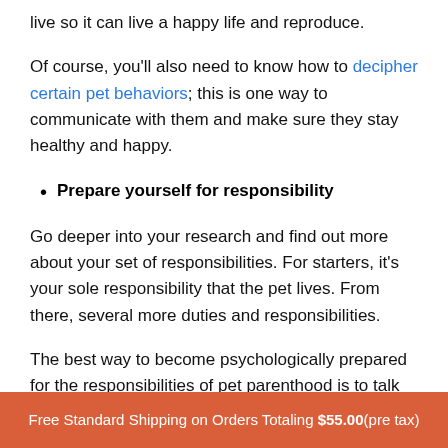live so it can live a happy life and reproduce.
Of course, you'll also need to know how to decipher certain pet behaviors; this is one way to communicate with them and make sure they stay healthy and happy.
Prepare yourself for responsibility
Go deeper into your research and find out more about your set of responsibilities. For starters, it's your sole responsibility that the pet lives. From there, several more duties and responsibilities.
The best way to become psychologically prepared for the responsibilities of pet parenthood is to talk to someone who already owns a pet. Forums are a great
Free Standard Shipping on Orders Totaling $55.00(pre tax)